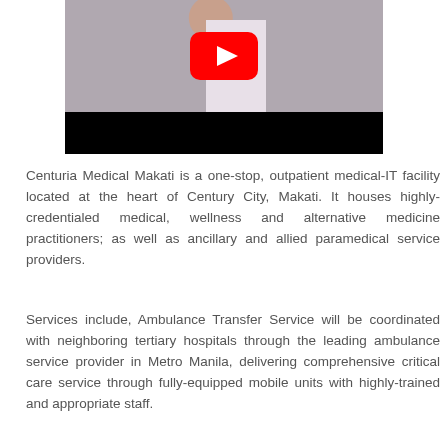[Figure (screenshot): YouTube video thumbnail showing a person in a white coat speaking at a podium, with a YouTube play button overlay. The lower portion is black (video player bar area).]
Centuria Medical Makati is a one-stop, outpatient medical-IT facility located at the heart of Century City, Makati. It houses highly-credentialed medical, wellness and alternative medicine practitioners; as well as ancillary and allied paramedical service providers.
Services include, Ambulance Transfer Service will be coordinated with neighboring tertiary hospitals through the leading ambulance service provider in Metro Manila, delivering comprehensive critical care service through fully-equipped mobile units with highly-trained and appropriate staff.